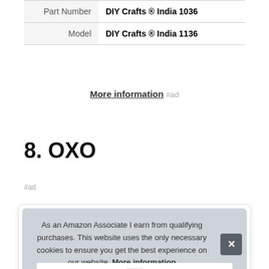|  |  |
| --- | --- |
| Part Number | DIY Crafts ® India 1036 |
| Model | DIY Crafts ® India 1136 |
More information #ad
8. OXO
#ad
As an Amazon Associate I earn from qualifying purchases. This website uses the only necessary cookies to ensure you get the best experience on our website. More information